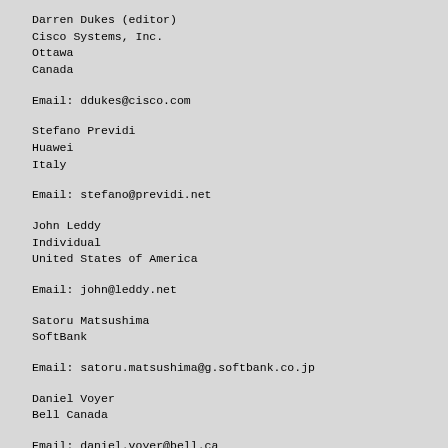Darren Dukes (editor)
Cisco Systems, Inc.
Ottawa
Canada
Email: ddukes@cisco.com
Stefano Previdi
Huawei
Italy
Email: stefano@previdi.net
John Leddy
Individual
United States of America
Email: john@leddy.net
Satoru Matsushima
SoftBank
Email: satoru.matsushima@g.softbank.co.jp
Daniel Voyer
Bell Canada
Email: daniel.voyer@bell.ca